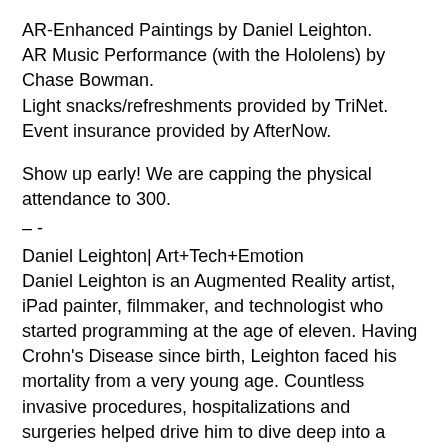AR-Enhanced Paintings by Daniel Leighton.
AR Music Performance (with the Hololens) by Chase Bowman.
Light snacks/refreshments provided by TriNet. Event insurance provided by AfterNow.
Show up early! We are capping the physical attendance to 300.
– -
Daniel Leighton| Art+Tech+Emotion
Daniel Leighton is an Augmented Reality artist, iPad painter, filmmaker, and technologist who started programming at the age of eleven. Having Crohn's Disease since birth, Leighton faced his mortality from a very young age. Countless invasive procedures, hospitalizations and surgeries helped drive him to dive deep into a lifelong quest to understand the workings of his body and his emotions.
He creates emotional landscapes with simple lines and